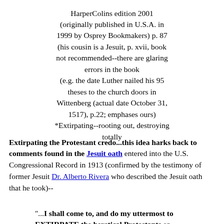HarperColins edition 2001 (originally published in U.S.A. in 1999 by Osprey Bookmakers) p. 87 (his cousin is a Jesuit, p. xvii, book not recommended--there are glaring errors in the book (e.g. the date Luther nailed his 95 theses to the church doors in Wittenberg (actual date October 31, 1517), p.22; emphases ours) *Extirpating--rooting out, destroying totally
Extirpating the Protestant credo...this idea harks back to comments found in the Jesuit oath entered into the U.S. Congressional Record in 1913 (confirmed by the testimony of former Jesuit Dr. Alberto Rivera who described the Jesuit oath that he took)--
"...I shall come to, and do my uttermost to EXTIRPATE the heretical Protestants or